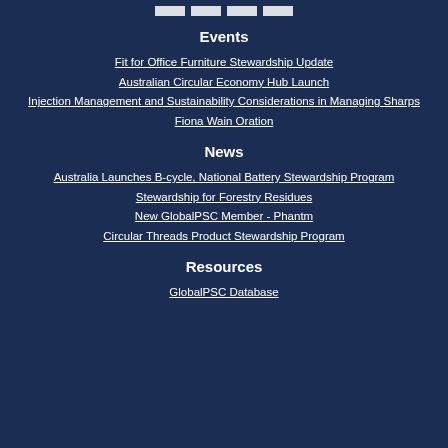Events
Fit for Office Furniture Stewardship Update
Australian Circular Economy Hub Launch
Injection Management and Sustainability Considerations in Managing Sharps
Fiona Wain Oration
News
Australia Launches B-cycle, National Battery Stewardship Program
Stewardship for Forestry Residues
New GlobalPSC Member - Phantm
Circular Threads Product Stewardship Program
Resources
GlobalPSC Database